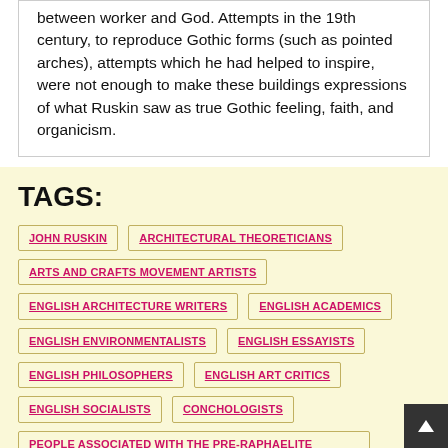between worker and God. Attempts in the 19th century, to reproduce Gothic forms (such as pointed arches), attempts which he had helped to inspire, were not enough to make these buildings expressions of what Ruskin saw as true Gothic feeling, faith, and organicism.
TAGS:
JOHN RUSKIN
ARCHITECTURAL THEORETICIANS
ARTS AND CRAFTS MOVEMENT ARTISTS
ENGLISH ARCHITECTURE WRITERS
ENGLISH ACADEMICS
ENGLISH ENVIRONMENTALISTS
ENGLISH ESSAYISTS
ENGLISH PHILOSOPHERS
ENGLISH ART CRITICS
ENGLISH SOCIALISTS
CONCHOLOGISTS
PEOPLE ASSOCIATED WITH THE PRE-RAPHAELITE BROTHERHOOD